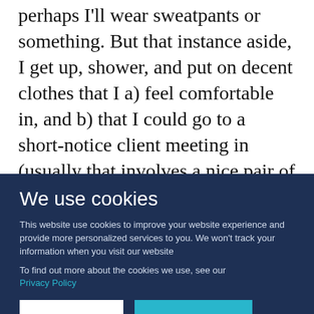perhaps I'll wear sweatpants or something. But that instance aside, I get up, shower, and put on decent clothes that I a) feel comfortable in, and b) that I could go to a short-notice client meeting in (usually that involves a nice pair of jeans, and some sort of shirt/cardigan or plaid shirt). It's practical and dressing the part reminds me that I'm here to work, not sit in my pajamas and look
We use cookies
This website use cookies to improve your website experience and provide more personalized services to you. We won't track your information when you visit our website
To find out more about the cookies we use, see our Privacy Policy